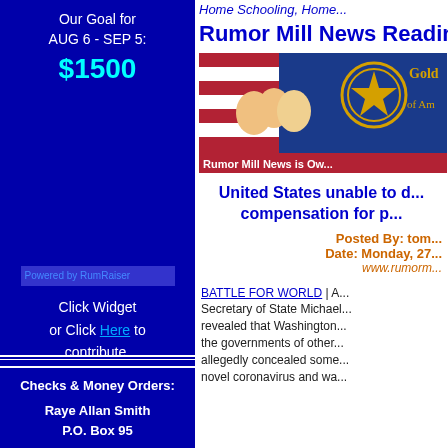Our Goal for AUG 6 - SEP 5: $1500
[Figure (other): Powered by RumRaiser widget image placeholder]
Click Widget or Click Here to contribute.
Checks & Money Orders:
Raye Allan Smith
P.O. Box 95
Home Schooling, Home...
Rumor Mill News Readin...
[Figure (photo): Gold Star of America banner with elderly people and US flag. Text says 'Rumor Mill News is Ow...']
United States unable to d... compensation for p...
Posted By: tom...
Date: Monday, 27...
www.rumorm...
BATTLE FOR WORLD | A... Secretary of State Michael... revealed that Washington... the governments of other... allegedly concealed some... novel coronavirus and wa...